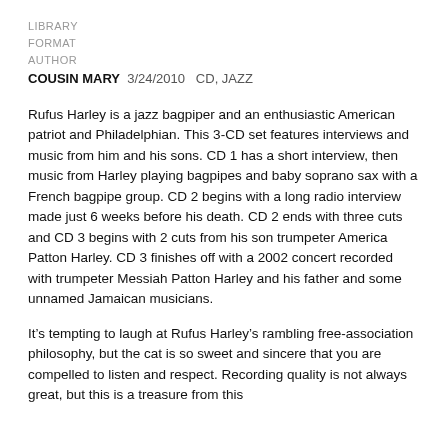LIBRARY
FORMAT
AUTHOR
COUSIN MARY  3/24/2010  CD, JAZZ
Rufus Harley is a jazz bagpiper and an enthusiastic American patriot and Philadelphian. This 3-CD set features interviews and music from him and his sons. CD 1 has a short interview, then music from Harley playing bagpipes and baby soprano sax with a French bagpipe group. CD 2 begins with a long radio interview made just 6 weeks before his death. CD 2 ends with three cuts and CD 3 begins with 2 cuts from his son trumpeter America Patton Harley. CD 3 finishes off with a 2002 concert recorded with trumpeter Messiah Patton Harley and his father and some unnamed Jamaican musicians.
It’s tempting to laugh at Rufus Harley’s rambling free-association philosophy, but the cat is so sweet and sincere that you are compelled to listen and respect. Recording quality is not always great, but this is a treasure from this